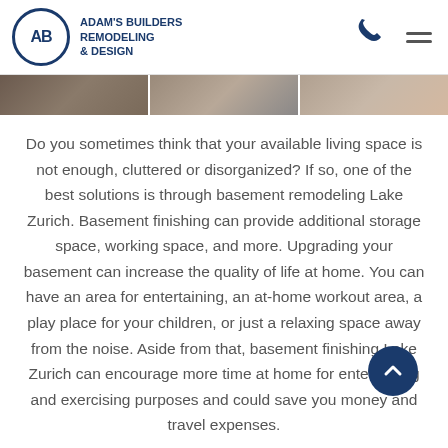ADAM'S BUILDERS REMODELING & DESIGN
[Figure (photo): Three-panel image strip showing flooring/tile samples in grey and brown tones]
Do you sometimes think that your available living space is not enough, cluttered or disorganized? If so, one of the best solutions is through basement remodeling Lake Zurich. Basement finishing can provide additional storage space, working space, and more. Upgrading your basement can increase the quality of life at home. You can have an area for entertaining, an at-home workout area, a play place for your children, or just a relaxing space away from the noise. Aside from that, basement finishing Lake Zurich can encourage more time at home for entertaining and exercising purposes and could save you money and travel expenses.
If you're planning to sell your home in the future, a basement